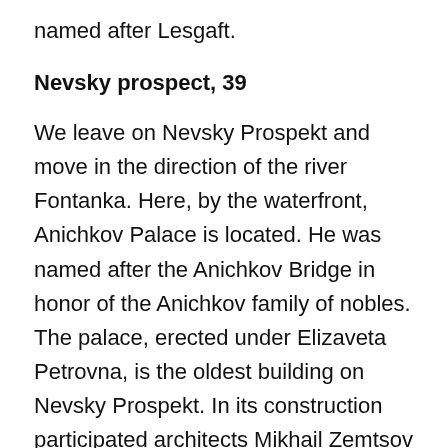named after Lesgaft.
Nevsky prospect, 39
We leave on Nevsky Prospekt and move in the direction of the river Fontanka. Here, by the waterfront, Anichkov Palace is located. He was named after the Anichkov Bridge in honor of the Anichkov family of nobles. The palace, erected under Elizaveta Petrovna, is the oldest building on Nevsky Prospekt. In its construction participated architects Mikhail Zemtsov and Bartolomeo Rastrelli. Later, Empress Catherine II presented the building to Grigory Potemkin. On the instructions of the new owner, the architect Giacomo Quarenghi gave Anichkov a stricter, close to the modern look.
Beginning with Nicholas I, the palace was inhabited